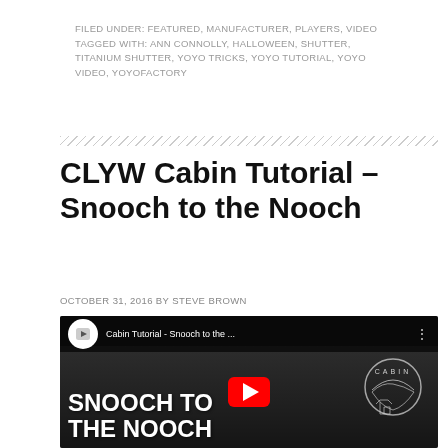FILED UNDER: FEATURED, MANUFACTURER, PLAYERS, VIDEO
TAGGED WITH: ANN CONNOLLY, HALLOWEEN, SHUTTER, TITANIUM SHUTTER, YOYO TRICKS, YOYO TUTORIAL, YOYO VIDEO, YOYOFACTORY
CLYW Cabin Tutorial – Snooch to the Nooch
OCTOBER 31, 2016 BY STEVE BROWN
[Figure (screenshot): YouTube video embed thumbnail showing 'Cabin Tutorial - Snooch to the ...' with a person in the background, CLYW cabin logo, and large white text 'SNOOCH TO THE NOOCH' with a red YouTube play button]